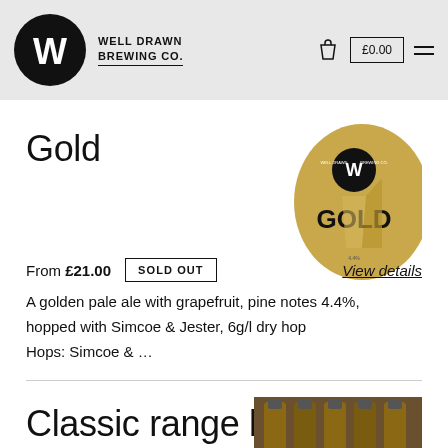WELL DRAWN BREWING CO. | £0.00
Gold
[Figure (logo): Well Drawn Brewing Co. Gold beer label — gold circular label with the W logo and GOLD text on a pint glass graphic]
From £21.00  SOLD OUT  View details
A golden pale ale with grapefruit, pine notes 4.4%, hopped with Simcoe & Jester, 6g/l dry hop Hops: Simcoe & …
Classic range box
[Figure (photo): Partial photo of Classic range box beer bottles]